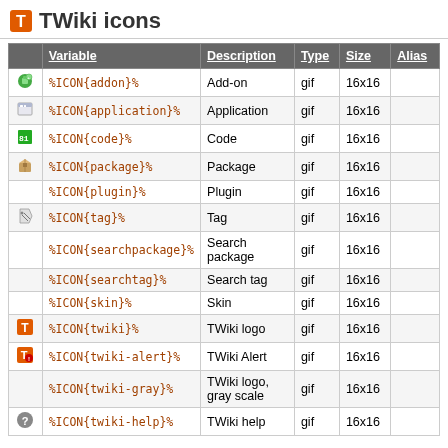TWiki icons
|  | Variable | Description | Type | Size | Alias |
| --- | --- | --- | --- | --- | --- |
| [addon icon] | %ICON{addon}% | Add-on | gif | 16x16 |  |
| [app icon] | %ICON{application}% | Application | gif | 16x16 |  |
| [code icon] | %ICON{code}% | Code | gif | 16x16 |  |
| [pkg icon] | %ICON{package}% | Package | gif | 16x16 |  |
|  | %ICON{plugin}% | Plugin | gif | 16x16 |  |
| [tag icon] | %ICON{tag}% | Tag | gif | 16x16 |  |
|  | %ICON{searchpackage}% | Search package | gif | 16x16 |  |
|  | %ICON{searchtag}% | Search tag | gif | 16x16 |  |
|  | %ICON{skin}% | Skin | gif | 16x16 |  |
| [twiki icon] | %ICON{twiki}% | TWiki logo | gif | 16x16 |  |
| [twiki-alert icon] | %ICON{twiki-alert}% | TWiki Alert | gif | 16x16 |  |
|  | %ICON{twiki-gray}% | TWiki logo, gray scale | gif | 16x16 |  |
| [twiki-help icon] | %ICON{twiki-help}% | TWiki help | gif | 16x16 |  |